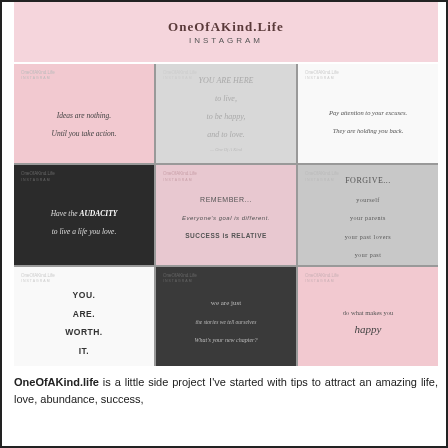OneOfAKind.Life
INSTAGRAM
[Figure (screenshot): 3x3 grid of Instagram post mockups for OneOfAKind.Life. Posts contain motivational quotes on pink, gray, dark, and white backgrounds. Quotes include: 'Ideas are nothing. Until you take action.', 'YOU ARE HERE to live, to be happy, and to love.', 'Pay attention to your excuses. They are holding you back.', 'Have the AUDACITY to live a life you love.', 'REMEMBER... Everyone's goal is different. SUCCESS is RELATIVE', 'FORGIVE... yourself your parents your past lovers your past', 'YOU. ARE. WORTH. IT.', 'we are just the stories we tell ourselves What's your new chapter?', 'do what makes you happy']
OneOfAKind.life is a little side project I've started with tips to attract an amazing life, love, abundance, success,